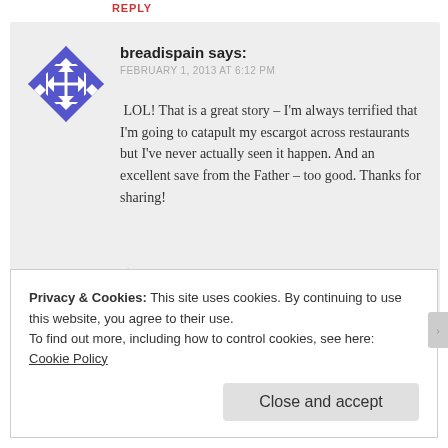REPLY
breadispain says:
FEBRUARY 1, 2013 AT 6:12 PM
LOL! That is a great story – I'm always terrified that I'm going to catapult my escargot across restaurants but I've never actually seen it happen. And an excellent save from the Father – too good. Thanks for sharing!
★ Like
REPLY
Privacy & Cookies: This site uses cookies. By continuing to use this website, you agree to their use.
To find out more, including how to control cookies, see here:
Cookie Policy
Close and accept